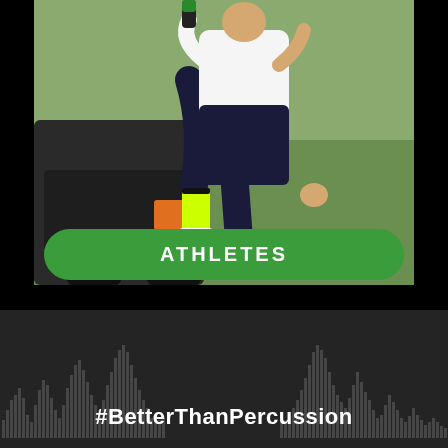[Figure (photo): Cyclist athlete stretching leg on bicycle next to a car, outdoors on a field, with a green 'ATHLETES' pill button overlay on the image]
[Figure (infographic): Dark waveform/audio visualization bar chart at the bottom of the page with the hashtag #BetterThanPercussion overlaid in white bold text]